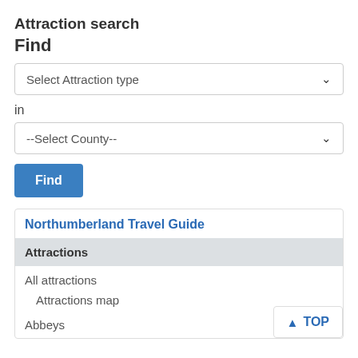Attraction search
Find
Select Attraction type
in
--Select County--
Find
Northumberland Travel Guide
Attractions
All attractions
Attractions map
Abbeys